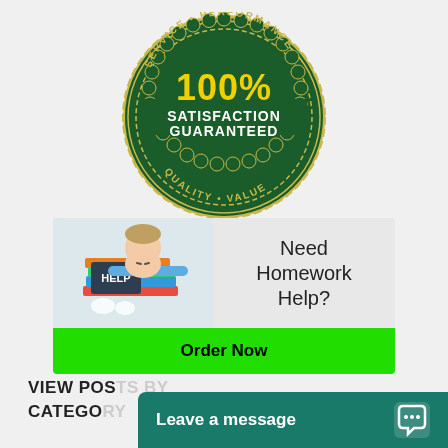[Figure (logo): Green circular badge with scalloped edge and ribbon banner. Text reads: SERVICE • PERFORMANCE at top arc, 100% in large yellow text, SATISFACTION GUARANTEED in white bold text on green ribbon, QUALITY • VALUE at bottom arc.]
[Figure (illustration): Student with head resting on stack of books holding a HELP chalkboard sign. Text on right: Need Homework Help?]
Order Now
VIEW POSTS BY CATEGORY
Leave a message